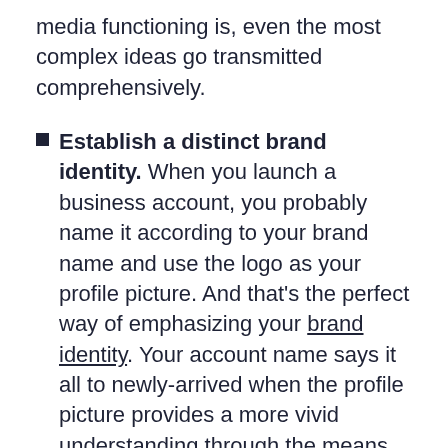media functioning is, even the most complex ideas go transmitted comprehensively.
Establish a distinct brand identity. When you launch a business account, you probably name it according to your brand name and use the logo as your profile picture. And that's the perfect way of emphasizing your brand identity. Your account name says it all to newly-arrived when the profile picture provides a more vivid understanding through the means of visualization. Ultimately, it's the first impression your brand produces, and excellent social media branding can make it favorable.